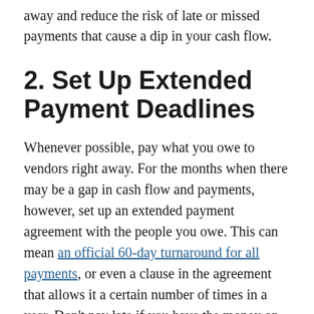away and reduce the risk of late or missed payments that cause a dip in your cash flow.
2. Set Up Extended Payment Deadlines
Whenever possible, pay what you owe to vendors right away. For the months when there may be a gap in cash flow and payments, however, set up an extended payment agreement with the people you owe. This can mean an official 60-day turnaround for all payments, or even a clause in the agreement that allows it a certain number of times in a year. Don't pay late if you have the money on hand, but be prepared in case you need to use that option on occasion. It will save you money on late payment fees and also allow more time to receive revenue to pay the